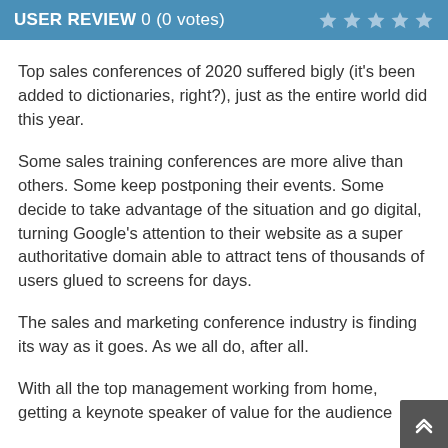USER REVIEW 0 (0 votes)
Top sales conferences of 2020 suffered bigly (it's been added to dictionaries, right?), just as the entire world did this year.
Some sales training conferences are more alive than others. Some keep postponing their events. Some decide to take advantage of the situation and go digital, turning Google's attention to their website as a super authoritative domain able to attract tens of thousands of users glued to screens for days.
The sales and marketing conference industry is finding its way as it goes. As we all do, after all.
With all the top management working from home, getting a keynote speaker of value for the audience...